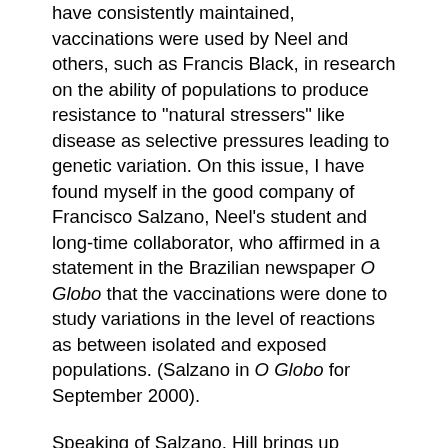have consistently maintained, vaccinations were used by Neel and others, such as Francis Black, in research on the ability of populations to produce resistance to "natural stressers" like disease as selective pressures leading to genetic variation. On this issue, I have found myself in the good company of Francisco Salzano, Neel's student and long-time collaborator, who affirmed in a statement in the Brazilian newspaper O Globo that the vaccinations were done to study variations in the level of reactions as between isolated and exposed populations. (Salzano in O Globo for September 2000).
Speaking of Salzano, Hill brings up Tierney's mention of him on the third page of his book as an example of "sleazy" journalism. The reference consists of a single clause, in which Salzano's name is not mentioned, in which Tierney refers to a Brazilian geneticist who collected blood samples during "the darkest days of the dictatorship". Anyone familiar with the Brazilian anthropological scene would know from the context that the geneticist in question is Salzano. Although Tierney draws no explicit connection between the collection of blood specimens and the bloodiness of the dictatorship,